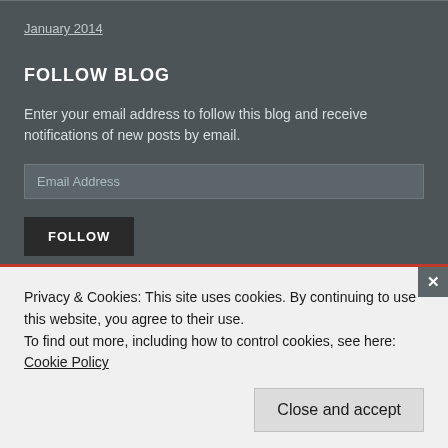January 2014
FOLLOW BLOG
Enter your email address to follow this blog and receive notifications of new posts by email.
Email Address
FOLLOW
CATEGORIES
Apparel (1)
Privacy & Cookies: This site uses cookies. By continuing to use this website, you agree to their use.
To find out more, including how to control cookies, see here: Cookie Policy
Close and accept